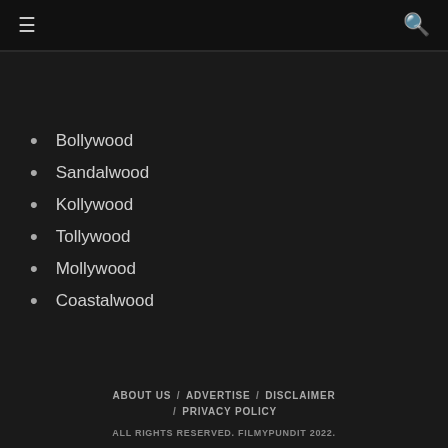≡  🔍
Bollywood
Sandalwood
Kollywood
Tollywood
Mollywood
Coastalwood
ABOUT US / ADVERTISE / DISCLAIMER / PRIVACY POLICY
ALL RIGHTS RESERVED. FILMYPUNDIT 2022.